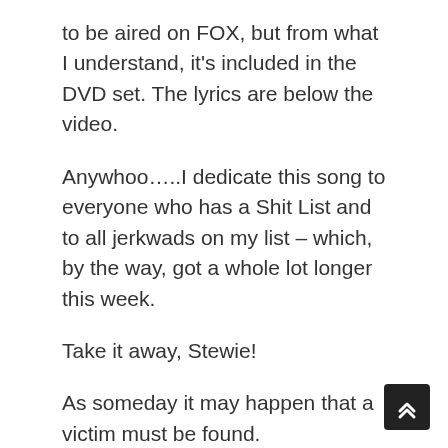to be aired on FOX, but from what I understand, it's included in the DVD set. The lyrics are below the video.
Anywhoo…..I dedicate this song to everyone who has a Shit List and to all jerkwads on my list – which, by the way, got a whole lot longer this week.
Take it away, Stewie!
As someday it may happen that a victim must be found.
I've got a little list; I've got a little list.
Of society offenders who might well be underground,
and who never would be missed, who never would be missed.
There's the white kid with the baggy clothes who's